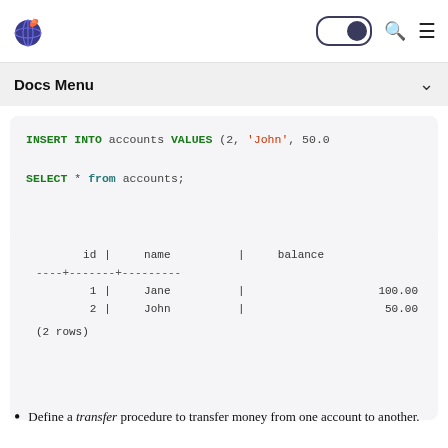Docs Menu
| id | name | balance |
| --- | --- | --- |
| 1 | Jane | 100.00 |
| 2 | John | 50.00 |
Define a transfer procedure to transfer money from one account to another.